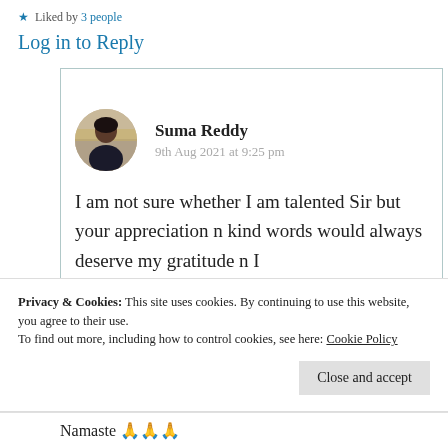Liked by 3 people
Log in to Reply
Suma Reddy
9th Aug 2021 at 9:25 pm
I am not sure whether I am talented Sir but your appreciation n kind words would always deserve my gratitude n I
Privacy & Cookies: This site uses cookies. By continuing to use this website, you agree to their use.
To find out more, including how to control cookies, see here: Cookie Policy
Close and accept
Namaste 🙏🙏🙏